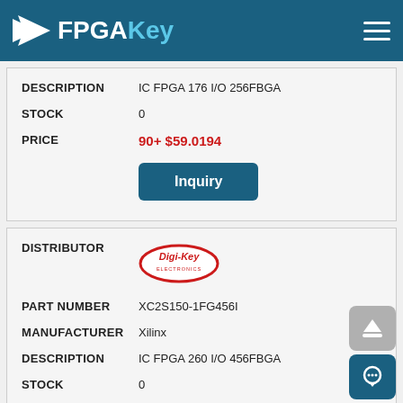FPGAKey
| Field | Value |
| --- | --- |
| DESCRIPTION | IC FPGA 176 I/O 256FBGA |
| STOCK | 0 |
| PRICE | 90+ $59.0194 |
| Field | Value |
| --- | --- |
| DISTRIBUTOR | Digi-Key |
| PART NUMBER | XC2S150-1FG456I |
| MANUFACTURER | Xilinx |
| DESCRIPTION | IC FPGA 260 I/O 456FBGA |
| STOCK | 0 |
| PRICE | 60+ $76.7514 |